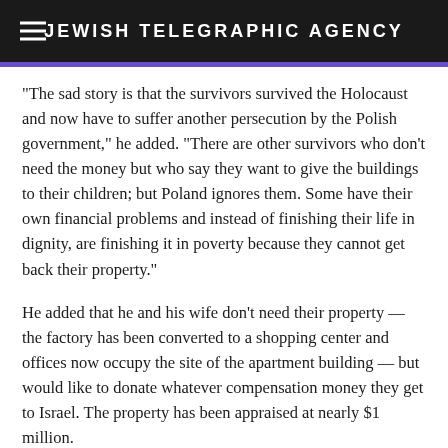JEWISH TELEGRAPHIC AGENCY
“The sad story is that the survivors survived the Holocaust and now have to suffer another persecution by the Polish government,” he added. “There are other survivors who don’t need the money but who say they want to give the buildings to their children; but Poland ignores them. Some have their own financial problems and instead of finishing their life in dignity, are finishing it in poverty because they cannot get back their property.”
He added that he and his wife don’t need their property — the factory has been converted to a shopping center and offices now occupy the site of the apartment building — but would like to donate whatever compensation money they get to Israel. The property has been appraised at nearly $1 million.